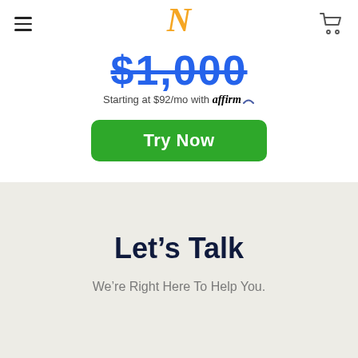Navigation bar with hamburger menu, N logo, and cart icon
$1,000
Starting at $92/mo with affirm
Try Now
Let's Talk
We're Right Here To Help You.